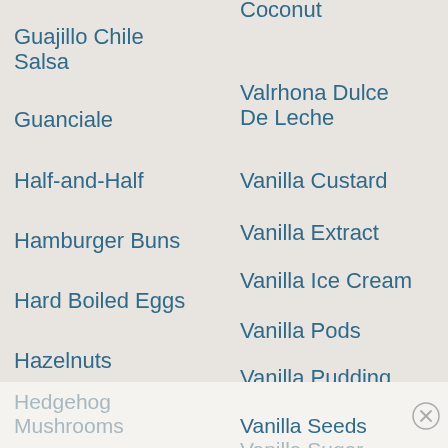Ground Walnuts
Guajillo Chile Salsa
Guanciale
Half-and-Half
Hamburger Buns
Hard Boiled Eggs
Hazelnuts
Healthy Bread
Hearts of Palm
Hedgehog Mushrooms
Shredded Coconut
Valrhona Dulce De Leche
Vanilla Custard
Vanilla Extract
Vanilla Ice Cream
Vanilla Pods
Vanilla Pudding Mix
Vanilla Seeds
Vanilla Sugar